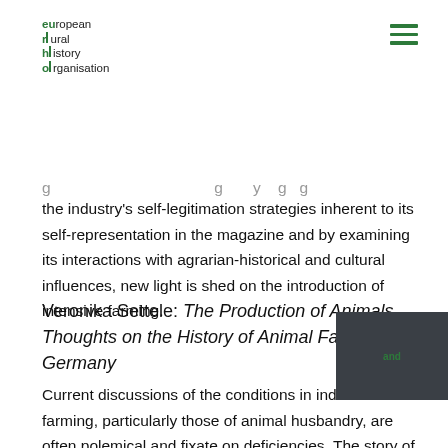european rural history organisation
the industry's self-legitimation strategies inherent to its self-representation in the magazine and by examining its interactions with agrarian-historical and cultural influences, new light is shed on the introduction of intensive farming.
Veronika Settele: The Production of Animals. Thoughts on the History of Animal Farming in Germany
Current discussions of the conditions in industrialized farming, particularly those of animal husbandry, are often polemical and fixate on deficiencies. The story of how animal farming developed has so far largely remained untold, although it is